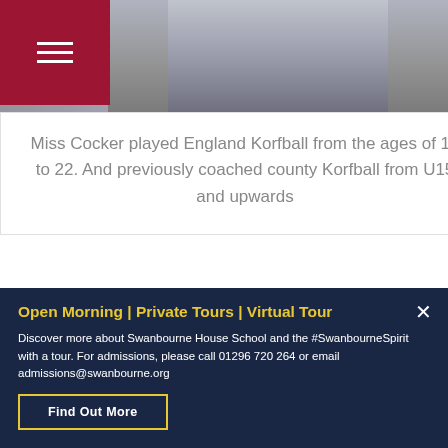[Figure (photo): Person in dark maroon and navy sports kit holding a yellow and blue korfball, photographed from below against a grey outdoor background]
Miss Cocker played England Korfball from the ages of 13 to 22. And previously coached county Korfball from U15 and upwards
[Figure (photo): Brick gate pillars or entrance to school grounds, outdoor setting with muted tones]
Open Morning | Private Tours | Virtual Tour
Discover more about Swanbourne House School and the #SwanbourneSpirit with a tour. For admissions, please call 01296 720 264 or email admissions@swanbourne.org
Find Out More